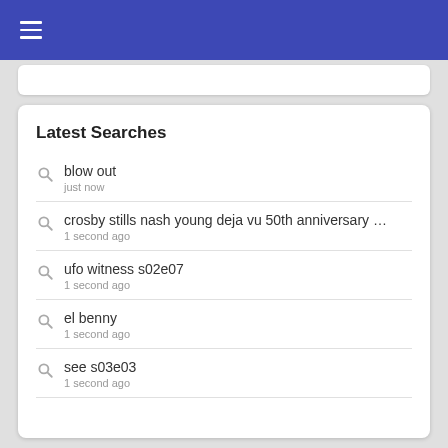Latest Searches
blow out
just now
crosby stills nash young deja vu 50th anniversary deluxe...
1 second ago
ufo witness s02e07
1 second ago
el benny
1 second ago
see s03e03
1 second ago